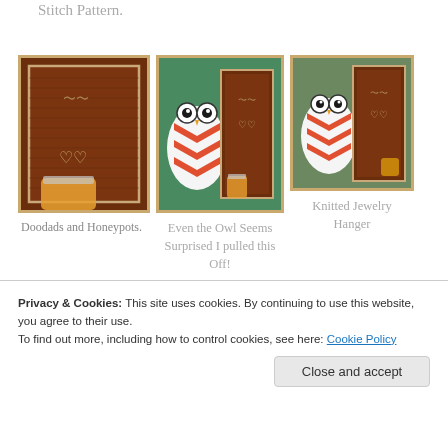Stitch Pattern.
[Figure (photo): Close-up photo of a dark brown knitted/woven board with a framed textile piece, and a honey jar visible at bottom]
[Figure (photo): Photo of a ceramic owl figurine with orange chevron pattern next to a framed dark textile piece and a jar]
[Figure (photo): Photo of a ceramic owl figurine with orange chevron pattern next to a framed dark textile board]
Even the Owl Seems Surprised I pulled this Off!
Knitted Jewelry Hanger
Doodads and Honeypots.
Privacy & Cookies: This site uses cookies. By continuing to use this website, you agree to their use.
To find out more, including how to control cookies, see here: Cookie Policy
Close and accept